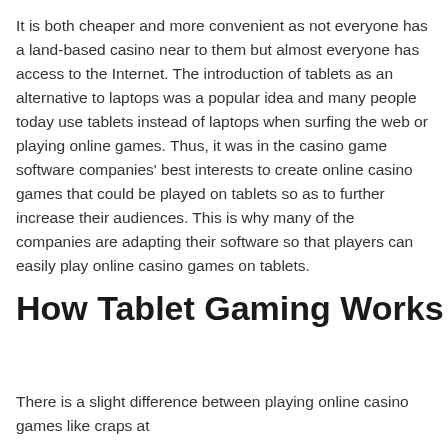It is both cheaper and more convenient as not everyone has a land-based casino near to them but almost everyone has access to the Internet. The introduction of tablets as an alternative to laptops was a popular idea and many people today use tablets instead of laptops when surfing the web or playing online games. Thus, it was in the casino game software companies' best interests to create online casino games that could be played on tablets so as to further increase their audiences. This is why many of the companies are adapting their software so that players can easily play online casino games on tablets.
How Tablet Gaming Works
There is a slight difference between playing online casino games like craps at...